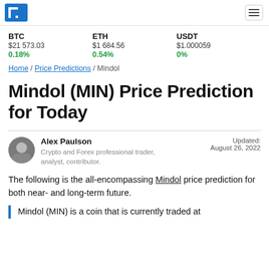[Figure (logo): Blue square logo with white L-shaped bracket icon]
BTC $21 573.03 0.18%
ETH $1 684.56 0.54%
USDT $1.000059 0%
Home / Price Predictions / Mindol
Mindol (MIN) Price Prediction for Today
Alex Paulson
Crypto and Forex professional trader, analyst, contributor.
Updated: August 26, 2022
The following is the all-encompassing Mindol price prediction for both near- and long-term future.
Mindol (MIN) is a coin that is currently traded at